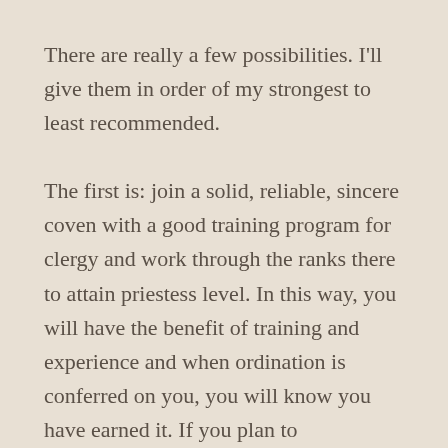There are really a few possibilities. I'll give them in order of my strongest to least recommended.
The first is: join a solid, reliable, sincere coven with a good training program for clergy and work through the ranks there to attain priestess level. In this way, you will have the benefit of training and experience and when ordination is conferred on you, you will know you have earned it. If you plan to